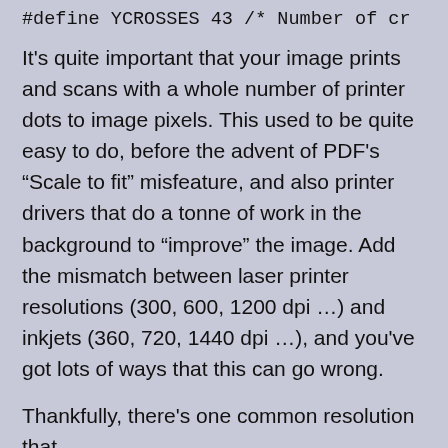#define YCROSSES 43 /* Number of cr
It’s quite important that your image prints and scans with a whole number of printer dots to image pixels. This used to be quite easy to do, before the advent of PDF’s “Scale to fit” misfeature, and also printer drivers that do a tonne of work in the background to “improve” the image. Add the mismatch between laser printer resolutions (300, 600, 1200 dpi …) and inkjets (360, 720, 1440 dpi …), and you’ve got lots of ways that this can go wrong.
Thankfully, there’s one common resolution that